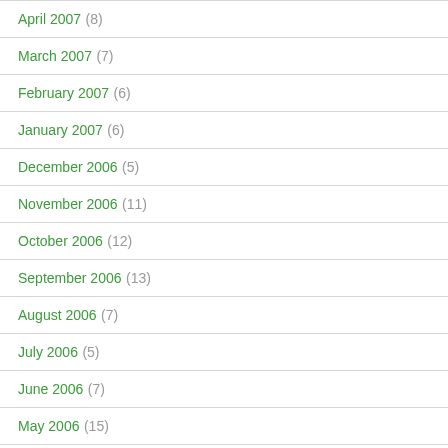April 2007 (8)
March 2007 (7)
February 2007 (6)
January 2007 (6)
December 2006 (5)
November 2006 (11)
October 2006 (12)
September 2006 (13)
August 2006 (7)
July 2006 (5)
June 2006 (7)
May 2006 (15)